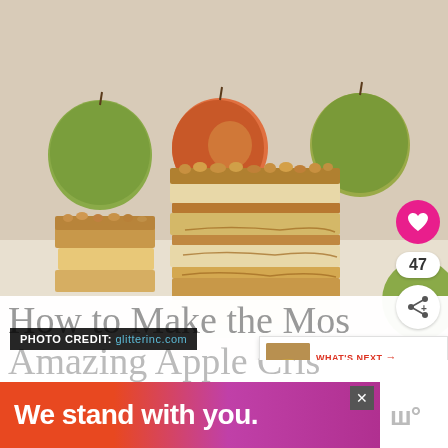[Figure (photo): Stacked apple crisp bars with crumble topping on a white surface, surrounded by fresh apples in background]
PHOTO CREDIT: glitterinc.com
How to Make the Mos Amazing Apple Cris
We stand with you.